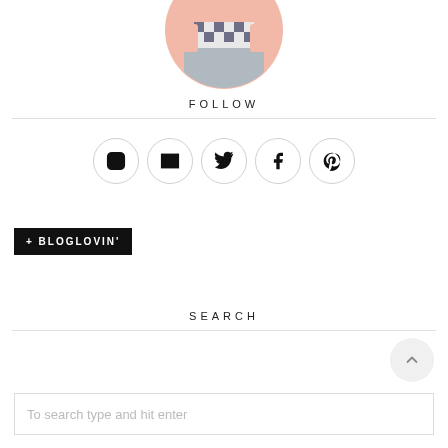[Figure (photo): Circular cropped profile photo of a person wearing a gingham top and grey tulle skirt, shown from shoulders down, on a pink background]
FOLLOW
[Figure (infographic): Row of five circular social media icon buttons: Instagram, Email, Twitter, Facebook, Pinterest]
[Figure (logo): Bloglovin button: black rectangle with white text '+ BLOGLOVIN'']
SEARCH
To search type and hit enter